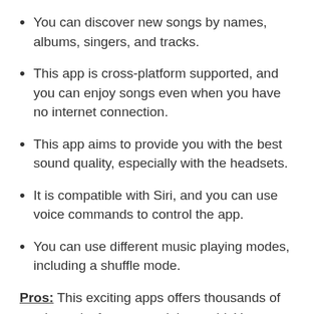You can discover new songs by names, albums, singers, and tracks.
This app is cross-platform supported, and you can enjoy songs even when you have no internet connection.
This app aims to provide you with the best sound quality, especially with the headsets.
It is compatible with Siri, and you can use voice commands to control the app.
You can use different music playing modes, including a shuffle mode.
Pros: This exciting apps offers thousands of music tracks from around the world. You can indeed filter songs by